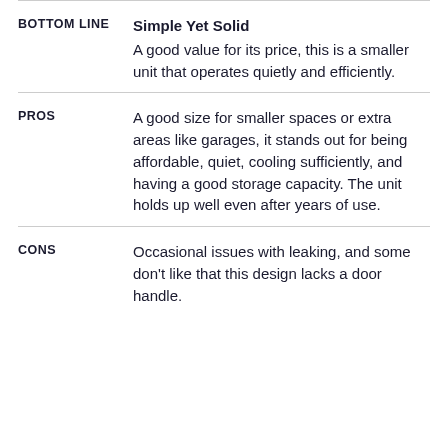BOTTOM LINE
Simple Yet Solid
A good value for its price, this is a smaller unit that operates quietly and efficiently.
PROS
A good size for smaller spaces or extra areas like garages, it stands out for being affordable, quiet, cooling sufficiently, and having a good storage capacity. The unit holds up well even after years of use.
CONS
Occasional issues with leaking, and some don't like that this design lacks a door handle.